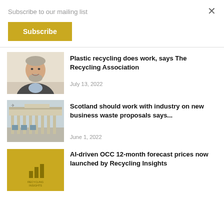Subscribe to our mailing list
Subscribe
[Figure (photo): Portrait photo of a middle-aged man with grey beard, wearing a dark sweater and light blue collared shirt]
Plastic recycling does work, says The Recycling Association
July 13, 2022
[Figure (photo): Photo of a building exterior with columns, airport or civic building, overcast sky]
Scotland should work with industry on new business waste proposals says...
June 1, 2022
[Figure (logo): Yellow square with bar chart icon and text 'Recycling Insights']
AI-driven OCC 12-month forecast prices now launched by Recycling Insights